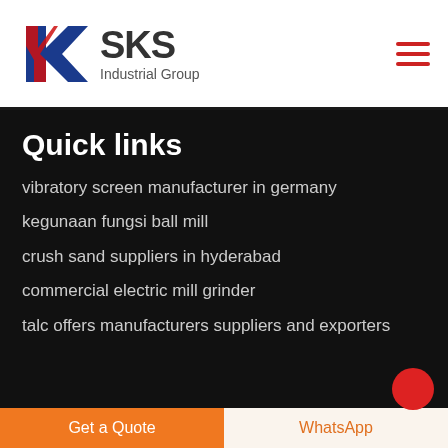[Figure (logo): SKS Industrial Group logo with red and blue K icon and text SKS Industrial Group]
Quick links
vibratory screen manufacturer in germany
kegunaan fungsi ball mill
crush sand suppliers in hyderabad
commercial electric mill grinder
talc offers manufacturers suppliers and exporters
Get a Quote
WhatsApp